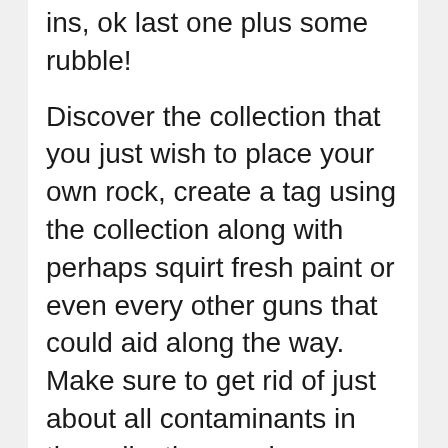ins, ok last one plus some rubble!
Discover the collection that you just wish to place your own rock, create a tag using the collection along with perhaps squirt fresh paint or even every other guns that could aid along the way. Make sure to get rid of just about all contaminants in the collection, such as unfastened rubble, weeds, unequal floor, and so on. After that make sure to place the actual plastic material divider panel one of the rubble combined with the backyard, in order to safe the actual free of charge tiny rocks (if you’re using it) through slipping on to the